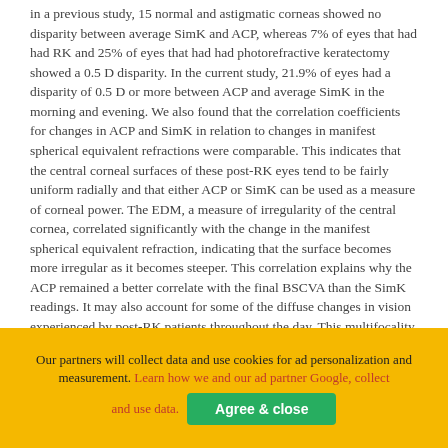in a previous study, 15 normal and astigmatic corneas showed no disparity between average SimK and ACP, whereas 7% of eyes that had had RK and 25% of eyes that had had photorefractive keratectomy showed a 0.5 D disparity. In the current study, 21.9% of eyes had a disparity of 0.5 D or more between ACP and average SimK in the morning and evening. We also found that the correlation coefficients for changes in ACP and SimK in relation to changes in manifest spherical equivalent refractions were comparable. This indicates that the central corneal surfaces of these post-RK eyes tend to be fairly uniform radially and that either ACP or SimK can be used as a measure of corneal power. The EDM, a measure of irregularity of the central cornea, correlated significantly with the change in the manifest spherical equivalent refraction, indicating that the surface becomes more irregular as it becomes steeper. This correlation explains why the ACP remained a better correlate with the final BSCVA than the SimK readings. It may also account for some of the diffuse changes in vision experienced by post-RK patients throughout the day. This multifocality can result in glare, ghost images, and decreased contrast
Our partners will collect data and use cookies for ad personalization and measurement. Learn how we and our ad partner Google, collect and use data. [Agree & close]